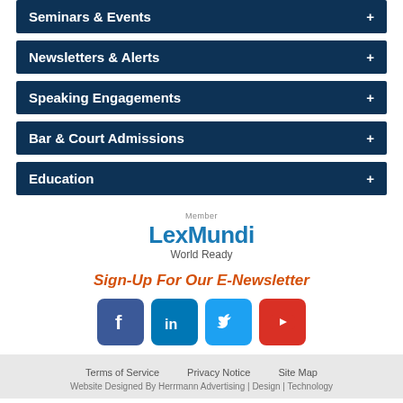Seminars & Events
Newsletters & Alerts
Speaking Engagements
Bar & Court Admissions
Education
[Figure (logo): Lex Mundi Member World Ready logo]
Sign-Up For Our E-Newsletter
[Figure (infographic): Social media icons: Facebook, LinkedIn, Twitter, YouTube]
Terms of Service   Privacy Notice   Site Map
Website Designed By Herrmann Advertising | Design | Technology